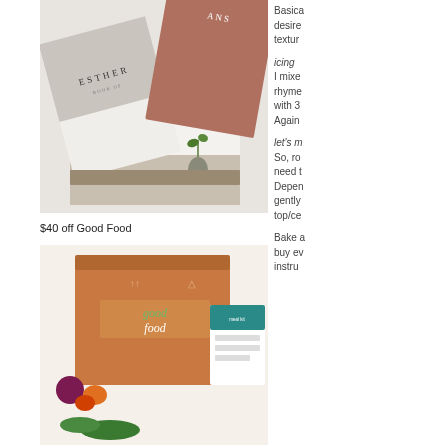[Figure (photo): Photo of study Bible books including Esther, Proverbs, and Romans/another title, arranged on a white surface with a small plant in a vase]
$40 off Good Food
[Figure (photo): Photo of a Good Food meal kit delivery box with vegetables and a recipe card]
Basically desired textur
icing
I mixe rhyme with 3 Again
let's m So, ro need t Depen gently top/ce
Bake a buy ev instru